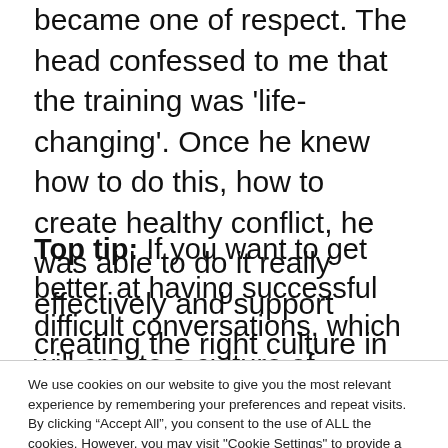became one of respect. The head confessed to me that the training was 'life-changing'. Once he knew how to do this, how to create healthy conflict, he was able to do it really effectively and support creating the right culture in his school.
Top tip: If you want to get better at having successful difficult conversations, which will create a culture of healthy conflict, I have two tips for you:
We use cookies on our website to give you the most relevant experience by remembering your preferences and repeat visits. By clicking "Accept All", you consent to the use of ALL the cookies. However, you may visit "Cookie Settings" to provide a controlled consent.